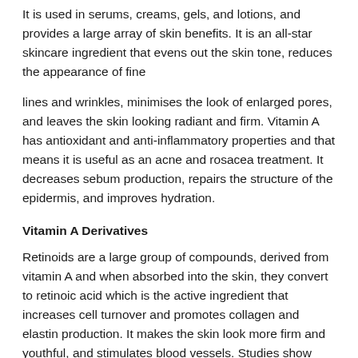It is used in serums, creams, gels, and lotions, and provides a large array of skin benefits. It is an all-star skincare ingredient that evens out the skin tone, reduces the appearance of fine
lines and wrinkles, minimises the look of enlarged pores, and leaves the skin looking radiant and firm. Vitamin A has antioxidant and anti-inflammatory properties and that means it is useful as an acne and rosacea treatment. It decreases sebum production, repairs the structure of the epidermis, and improves hydration.
Vitamin A Derivatives
Retinoids are a large group of compounds, derived from vitamin A and when absorbed into the skin, they convert to retinoic acid which is the active ingredient that increases cell turnover and promotes collagen and elastin production. It makes the skin look more firm and youthful, and stimulates blood vessels. Studies show that vitamin A counteracts the effects of UV damage by fading sun spots, age spots, and hyperpigmentation. Vitamin A is the source of all retinoids but the forms and strengths vary.